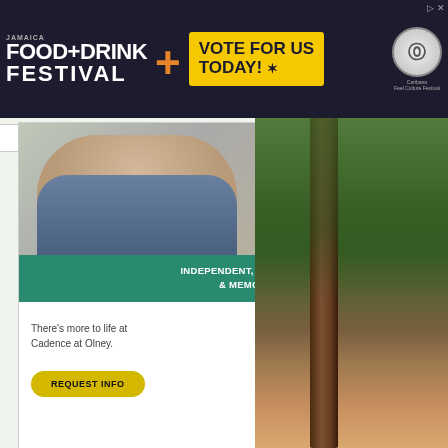[Figure (screenshot): Jamaica Food+Drink Festival banner ad with yellow Vote For Us Today box and Caribana logo]
[Figure (screenshot): Cadence Living assisted living ad showing older woman, green bar with INDEPENDENT ASSISTED LIVING & MEMORY CARE, tagline There's more to life at Cadence at Olney, REQUEST INFO button and Cadence logo]
Share this page with your friends:
[Figure (screenshot): Social sharing icons: Facebook, Twitter, email, Blogger, LinkedIn, various other share icons]
[Figure (photo): Mobile phone screen showing a robin bird app at 15:40 with 71% battery]
[Figure (photo): Right side: tall tree trunk with green forest foliage and hillside in background]